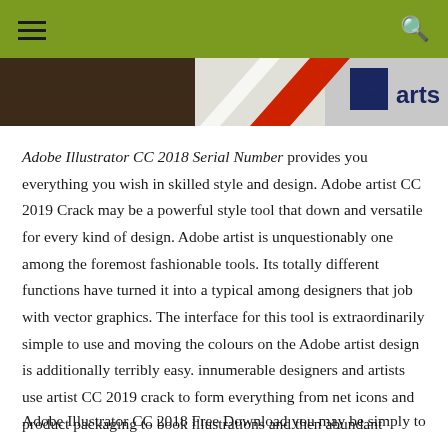[hamburger menu] [search icon]
[Figure (photo): Banner image with dark brown left panel and grey right panel featuring logo text 'arts' in dark blue with box icon and graphic elements including a red and white triangular shape]
Adobe Illustrator CC 2018 Serial Number provides you everything you wish in skilled style and design. Adobe artist CC 2019 Crack may be a powerful style tool that down and versatile for every kind of design. Adobe artist is unquestionably one among the foremost fashionable tools. Its totally different functions have turned it into a typical among designers that job with vector graphics. The interface for this tool is extraordinarily simple to use and moving the colours on the Adobe artist design is additionally terribly easy. innumerable designers and artists use artist CC 2019 crack to form everything from net icons and product packaging to book illustrations and then abundant more...
Adobe Illustrator CC 2018 Free Download you may be simply to